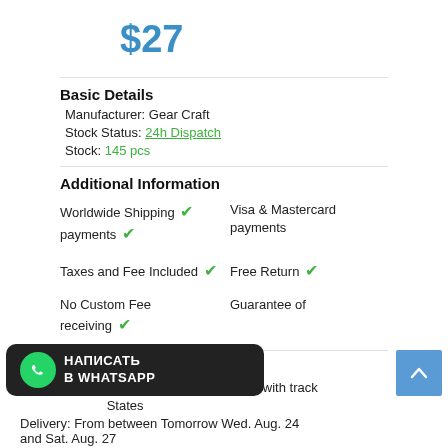$27
Basic Details
Manufacturer: Gear Craft
Stock Status: 24h Dispatch
Stock: 145 pcs
Additional Information
Worldwide Shipping ✔  Visa & Mastercard payments ✔
Taxes and Fee Included ✔  Free Return ✔
No Custom Fee receiving ✔  Guarantee of
Shipping details
Shipping: From $8 registered ground mail with track
States
Delivery: From between Tomorrow Wed. Aug. 24 and Sat. Aug. 27